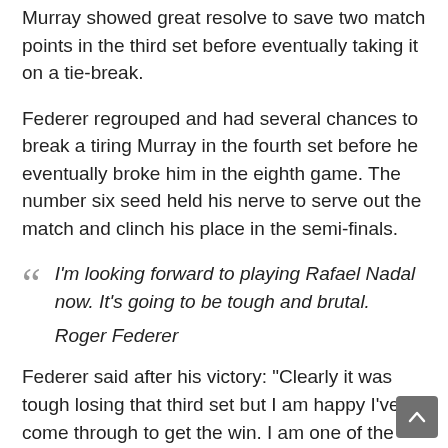Murray showed great resolve to save two match points in the third set before eventually taking it on a tie-break.
Federer regrouped and had several chances to break a tiring Murray in the fourth set before he eventually broke him in the eighth game. The number six seed held his nerve to serve out the match and clinch his place in the semi-finals.
“I’m looking forward to playing Rafael Nadal now. It’s going to be tough and brutal.

Roger Federer
Federer said after his victory: “Clearly it was tough losing that third set but I am happy I’ve come through to get the win. I am one of the guys who misses more